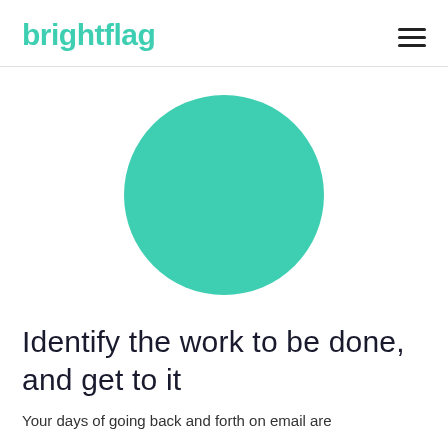brightflag
[Figure (illustration): Large teal/turquoise filled circle centered on white background]
Identify the work to be done, and get to it
Your days of going back and forth on email are